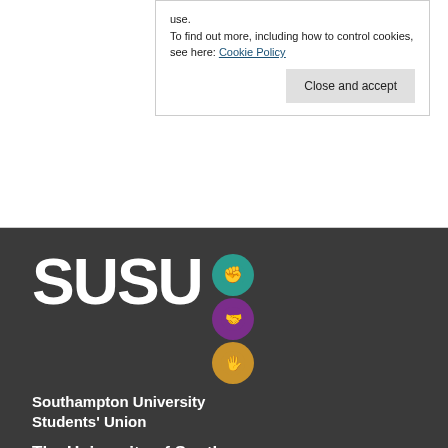To find out more, including how to control cookies, see here: Cookie Policy
Close and accept
[Figure (logo): SUSU - Southampton University Students' Union logo with teal, purple and gold circular icons containing hand/gesture illustrations]
Southampton University Students' Union
The University of Southampton...